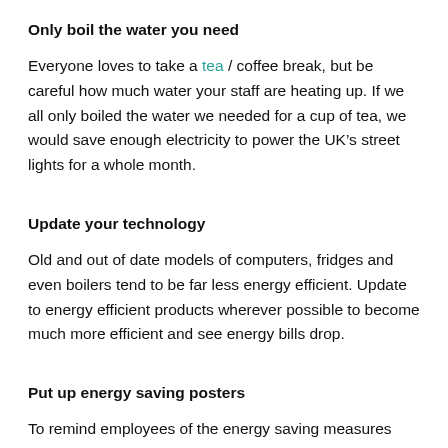Only boil the water you need
Everyone loves to take a tea / coffee break, but be careful how much water your staff are heating up. If we all only boiled the water we needed for a cup of tea, we would save enough electricity to power the UK’s street lights for a whole month.
Update your technology
Old and out of date models of computers, fridges and even boilers tend to be far less energy efficient. Update to energy efficient products wherever possible to become much more efficient and see energy bills drop.
Put up energy saving posters
To remind employees of the energy saving measures that are